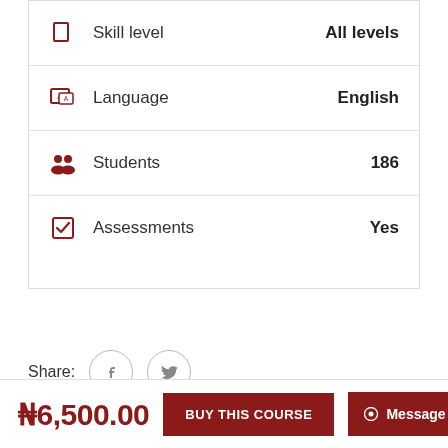Skill level   All levels
Language   English
Students   186
Assessments   Yes
Share:
₦6,500.00
BUY THIS COURSE
Message